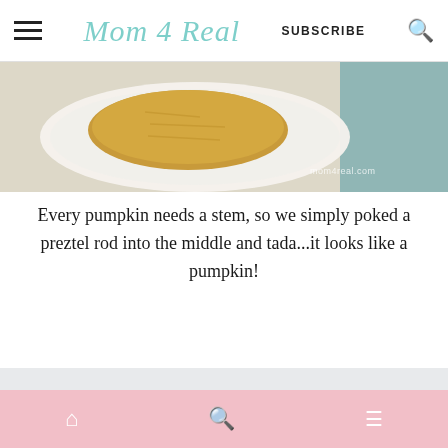Mom 4 Real | SUBSCRIBE
[Figure (photo): Top-down or angled photo of a round golden-brown pumpkin-shaped rice crispy treat on a white plate]
Every pumpkin needs a stem, so we simply poked a preztel rod into the middle and tada...it looks like a pumpkin!
[Figure (photo): Close-up photo of a pumpkin-shaped rice crispy treat with a pretzel rod inserted in the middle as a stem, on a white surface with shelves in the background]
Home | Search | Menu